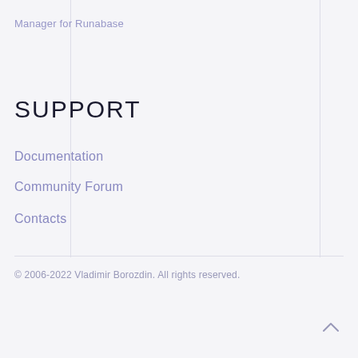Manager for Runabase
SUPPORT
Documentation
Community Forum
Contacts
© 2006-2022 Vladimir Borozdin. All rights reserved.